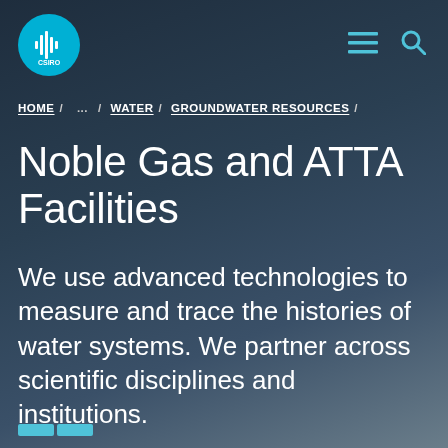[Figure (logo): CSIRO circular logo with audio waveform icon in teal/cyan color]
HOME / ... / WATER / GROUNDWATER RESOURCES /
Noble Gas and ATTA Facilities
We use advanced technologies to measure and trace the histories of water systems. We partner across scientific disciplines and institutions.